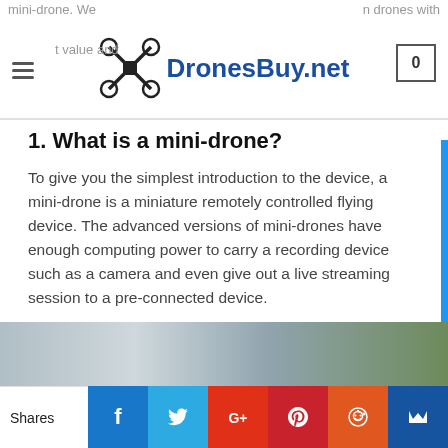DronesBuy.net
1. What is a mini-drone?
To give you the simplest introduction to the device, a mini-drone is a miniature remotely controlled flying device. The advanced versions of mini-drones have enough computing power to carry a recording device such as a camera and even give out a live streaming session to a pre-connected device.
While the initial usage of the term “drone” was connected to unmanned aircraft used by the military to send out with pre-programmed flight plans, now the term is more loosely used for flying devices which are commonly available.
[Figure (photo): Blurred background image strip showing outdoor scene]
Shares | Facebook | Twitter | Google+ | Pinterest | Reddit | Mix